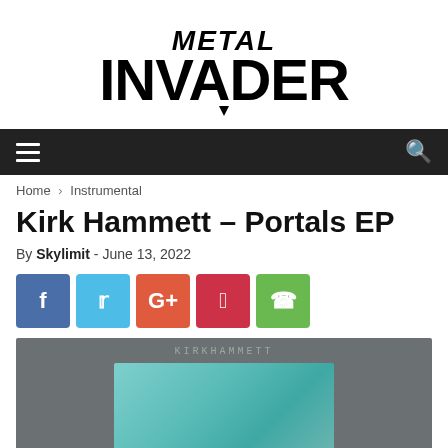METAL INVADER
Home › Instrumental
Kirk Hammett – Portals EP
By Skylimit - June 13, 2022
Social share buttons: Facebook, Twitter, Google+, Pinterest, WhatsApp
[Figure (photo): Kirk Hammett Portals EP album cover — dark grey background with artist name KIRKHAMMETT in small caps and a teal/turquoise textured rectangle in the center]